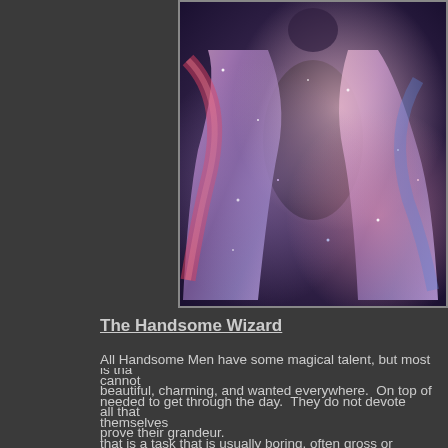[Figure (photo): A wizard or magical figure wearing a flowing robe/cloak with a galaxy/nebula pattern featuring stars and cosmic colors of purple, pink, blue, and red against a dark background.]
The Handsome Wizard
All Handsome Men have some magical talent, but most cannot needed to get through the day. They do not devote themselves that is a task that is usually boring, often gross or unpleasant, a full Wizards among the Handsome Men are actually Elf-Men, lit the prepubescent members of other races, modified to make th These modifications include things like clearing up the skin, str pointy, and a bunch of other things. When finished, this makes and strange looking. Most people who see them think that they a common mistake, but one only made by someone who has ne the Handsome Men are torches compared to the candles that a
Still, if any Elf-Men come closest to the Handsome Men, it is tha beautiful, charming, and wanted everywhere. On top of all that prove their grandeur.